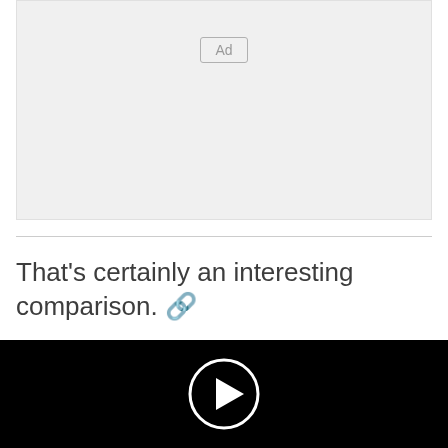[Figure (other): Advertisement placeholder box with 'Ad' label]
That's certainly an interesting comparison. 🔗
[Figure (screenshot): Black video player area with circular play button in the center]